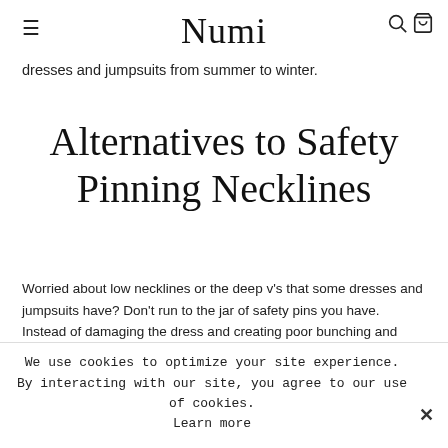Numi
dresses and jumpsuits from summer to winter.
Alternatives to Safety Pinning Necklines
Worried about low necklines or the deep v's that some dresses and jumpsuits have? Don't run to the jar of safety pins you have. Instead of damaging the dress and creating poor bunching and twisting at the neckline, layer a simple undershirt or cami underneath. Something like the NUMI
We use cookies to optimize your site experience. By interacting with our site, you agree to our use of cookies. Learn more